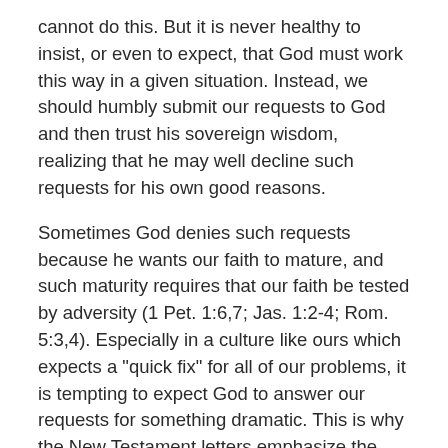cannot do this. But it is never healthy to insist, or even to expect, that God must work this way in a given situation. Instead, we should humbly submit our requests to God and then trust his sovereign wisdom, realizing that he may well decline such requests for his own good reasons.
Sometimes God denies such requests because he wants our faith to mature, and such maturity requires that our faith be tested by adversity (1 Pet. 1:6,7; Jas. 1:2-4; Rom. 5:3,4). Especially in a culture like ours which expects a "quick fix" for all of our problems, it is tempting to expect God to answer our requests for something dramatic. This is why the New Testament letters emphasize the development of perseverance and endurance[11], while they say little or nothing about seeking "crisis" experiences from God. Packer is surely right when he says,